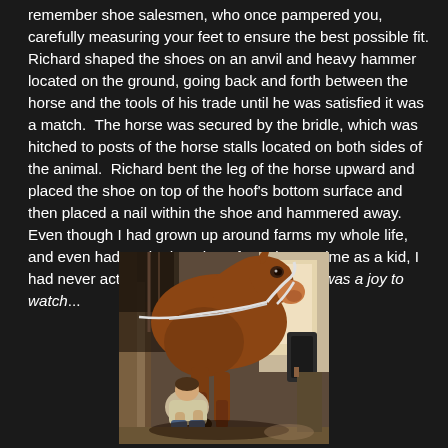remember shoe salesmen, who once pampered you, carefully measuring your feet to ensure the best possible fit. Richard shaped the shoes on an anvil and heavy hammer located on the ground, going back and forth between the horse and the tools of his trade until he was satisfied it was a match. The horse was secured by the bridle, which was hitched to posts of the horse stalls located on both sides of the animal. Richard bent the leg of the horse upward and placed the shoe on top of the hoof's bottom surface and then placed a nail within the shoe and hammered away. Even though I had grown up around farms my whole life, and even had worked on them from time to time as a kid, I had never actually seen a farrier at work. It was a joy to watch...
[Figure (photo): A brown horse with a white halter/rope bridle secured in a stable stall, with a person crouching down working on the horse's hoof (farrier at work). Wooden stall dividers visible in background, barn interior setting.]